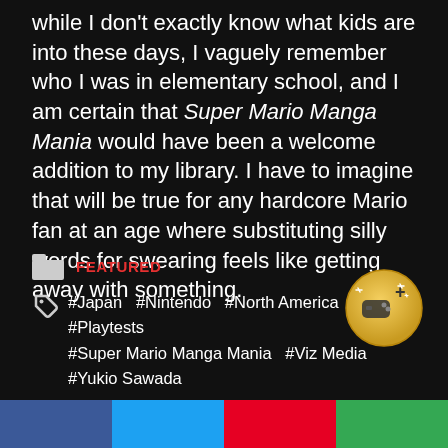while I don't exactly know what kids are into these days, I vaguely remember who I was in elementary school, and I am certain that Super Mario Manga Mania would have been a welcome addition to my library. I have to imagine that will be true for any hardcore Mario fan at an age where substituting silly words for swearing feels like getting away with something.
FEATURED
#Japan  #Nintendo  #North America  #Playtests  #Super Mario Manga Mania  #Viz Media  #Yukio Sawada
[Figure (logo): Gold circular badge with a game controller and plus sign icon]